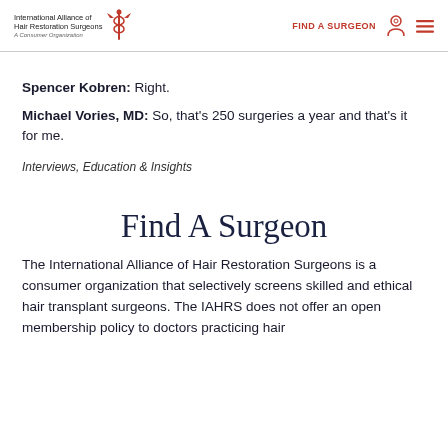International Alliance of Hair Restoration Surgeons A Consumer Organization | FIND A SURGEON
Spencer Kobren: Right.
Michael Vories, MD: So, that's 250 surgeries a year and that's it for me.
Interviews, Education & Insights
Find A Surgeon
The International Alliance of Hair Restoration Surgeons is a consumer organization that selectively screens skilled and ethical hair transplant surgeons. The IAHRS does not offer an open membership policy to doctors practicing hair